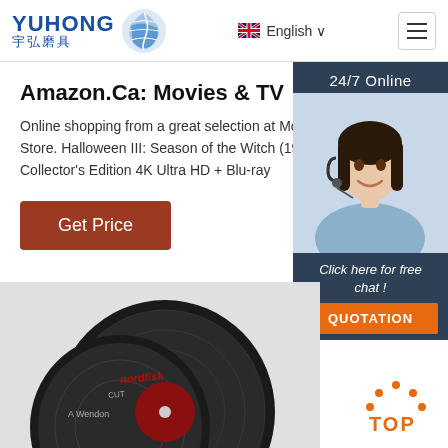YUHONG 宇弘磨具 — English
Amazon.Ca: Movies & TV
Online shopping from a great selection at Movies & TV Store. Halloween III: Season of the Witch (19... Collector's Edition 4K Ultra HD + Blu-ray
Get Price
[Figure (screenshot): 24/7 Online chat widget with female agent in headset, 'Click here for free chat!' and QUOTATION button]
[Figure (photo): Abrasive cut-off disc / grinding wheel product photo on grey background with TOP scroll icon]